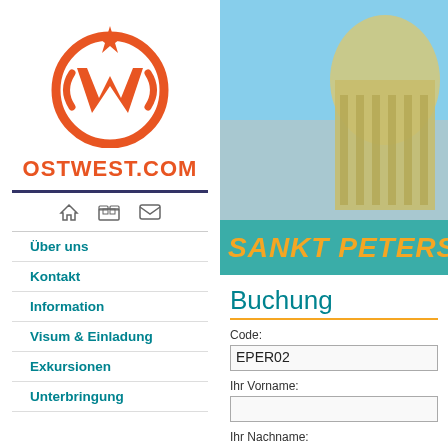[Figure (logo): Ostwest.com logo: orange circle with stylized W and star on top]
OSTWEST.COM
[Figure (photo): Photo of a classical building dome (St. Petersburg) against blue sky]
SANKT PETERSBU...
Über uns
Kontakt
Information
Visum & Einladung
Exkursionen
Unterbringung
Buchung
Code:
EPER02
Ihr Vorname:
Ihr Nachname: